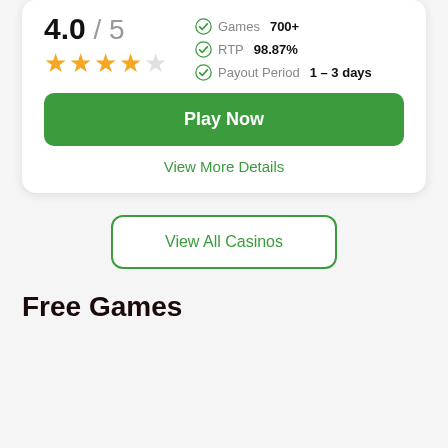4.0 / 5
[Figure (infographic): Star rating: 4 filled gold stars and 1 empty star]
Games  700+
RTP  98.87%
Payout Period  1 – 3 days
Play Now
View More Details
View All Casinos
Free Games